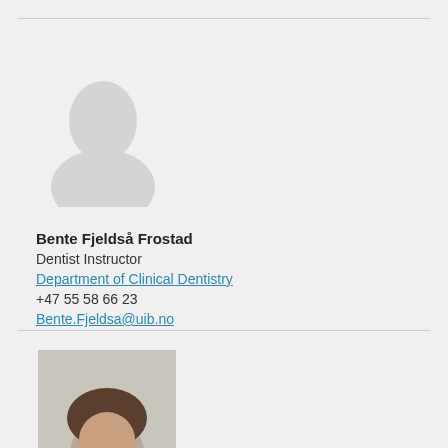[Figure (illustration): Generic placeholder silhouette of a person (grey, no face) for a staff profile photo]
Bente Fjeldså Frostad
Dentist Instructor
Department of Clinical Dentistry
+47 55 58 66 23
Bente.Fjeldsa@uib.no
[Figure (photo): Partial photo of a person, bottom of page, cropped — shows top of head and face of a woman with dark hair]